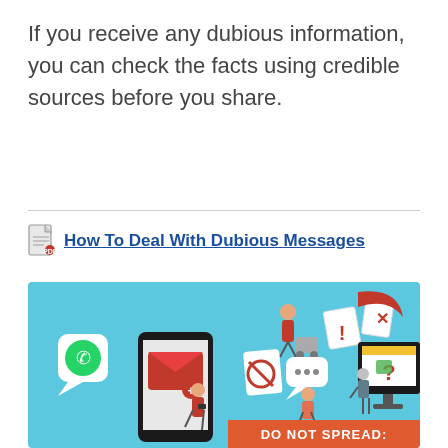If you receive any dubious information, you can check the facts using credible sources before you share.
How To Deal With Dubious Messages
[Figure (infographic): Infographic on light blue background showing people interacting with smartphones and a computer monitor, with messaging icons, warning symbols (exclamation, X, no symbol), WhatsApp chat bubble, question mark on monitor screen, and text 'DO NOT SPREAD:' on an orange banner at the bottom.]